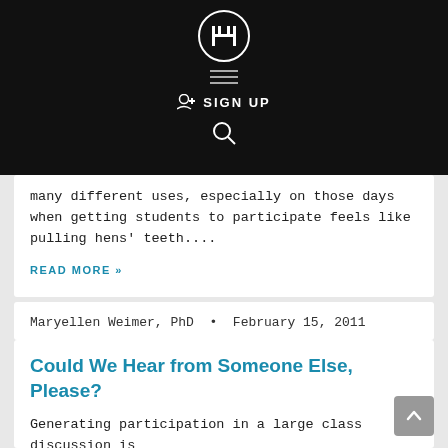FF | SIGN UP | [search]
many different uses, especially on those days when getting students to participate feels like pulling hens' teeth....
READ MORE »
Maryellen Weimer, PhD  •  February 15, 2011
Could We Hear from Someone Else, Please?
Generating participation in a large class discussion is